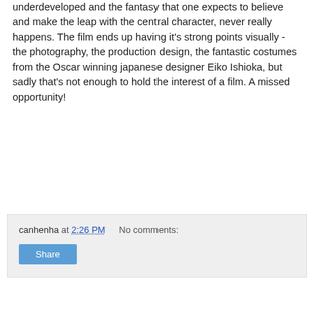underdeveloped and the fantasy that one expects to believe and make the leap with the central character, never really happens. The film ends up having it's strong points visually - the photography, the production design, the fantastic costumes from the Oscar winning japanese designer Eiko Ishioka, but sadly that's not enough to hold the interest of a film. A missed opportunity!
canhenha at 2:26 PM    No comments:
Share
Tuesday, May 27, 2008
Son of Ranbow
[Figure (photo): Movie poster for 'Son of Rambow' showing a forest scene with the title text 'SON OF RAMBOW' and tagline 'Make Believe, Not War']